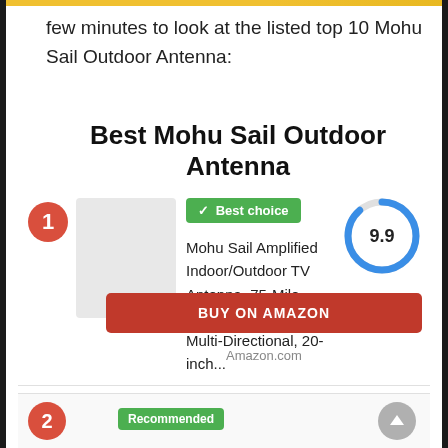few minutes to look at the listed top 10 Mohu Sail Outdoor Antenna:
Best Mohu Sail Outdoor Antenna
[Figure (infographic): Product listing card #1 with Best choice badge, score donut 9.9, product name 'Mohu Sail Amplified Indoor/Outdoor TV Antenna, 75-Mile Range, UHF/VHF Multi-Directional, 20-inch...' and BUY ON AMAZON button]
Amazon.com